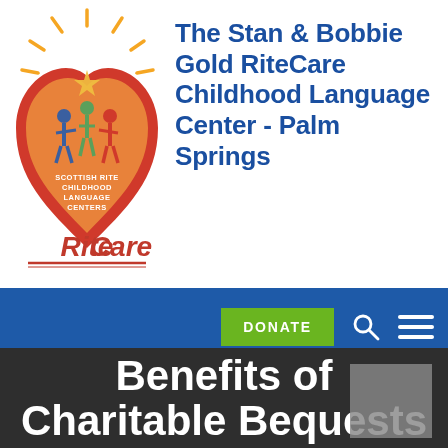[Figure (logo): Scottish Rite Childhood Language Centers RiteCare logo: orange and red heart shape with children figures, sun rays at top, 'RiteCare' text in orange-red below]
The Stan & Bobbie Gold RiteCare Childhood Language Center - Palm Springs
[Figure (screenshot): Navigation bar with blue background containing a green DONATE button, search icon, and hamburger menu icon]
Benefits of Charitable Bequests